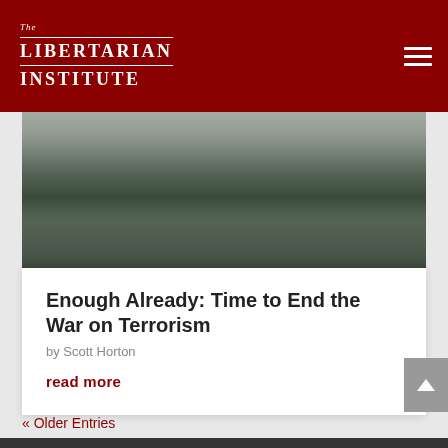The Libertarian Institute
[Figure (photo): Aerial/distant photograph of a war-torn city with smoke and haze, destroyed buildings visible on the horizon]
Enough Already: Time to End the War on Terrorism
by Scott Horton
read more
« Older Entries